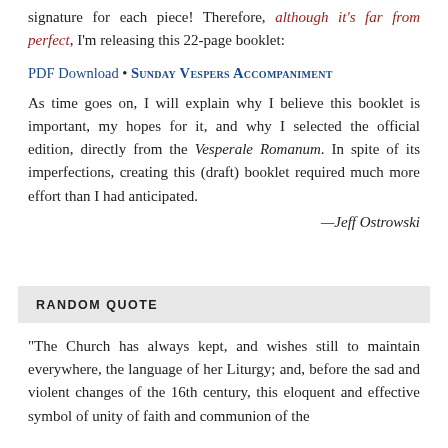signature for each piece! Therefore, although it's far from perfect, I'm releasing this 22-page booklet:
PDF Download • SUNDAY VESPERS ACCOMPANIMENT
As time goes on, I will explain why I believe this booklet is important, my hopes for it, and why I selected the official edition, directly from the Vesperale Romanum. In spite of its imperfections, creating this (draft) booklet required much more effort than I had anticipated.
—Jeff Ostrowski
RANDOM QUOTE
“The Church has always kept, and wishes still to maintain everywhere, the language of her Liturgy; and, before the sad and violent changes of the 16th century, this eloquent and effective symbol of unity of faith and communion of the faithful, was zealously maintained in the abodes of the dead…